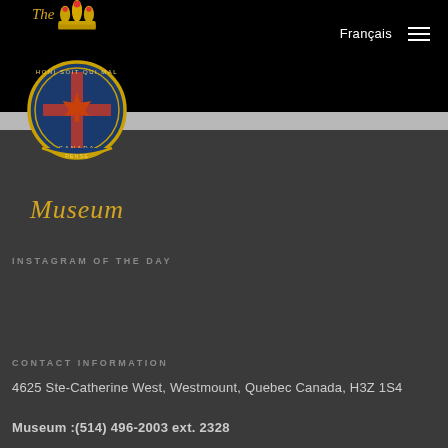[Figure (logo): Military museum crest/badge with maple leaf and crown, with 'The' in gold italic above and 'Museum' in gold script below]
Français
INSTAGRAM OF THE DAY
CONTACT INFORMATION
4625 Ste-Catherine West, Westmount, Quebec Canada, H3Z 1S4
Museum :(514) 496-2003 ext. 2328